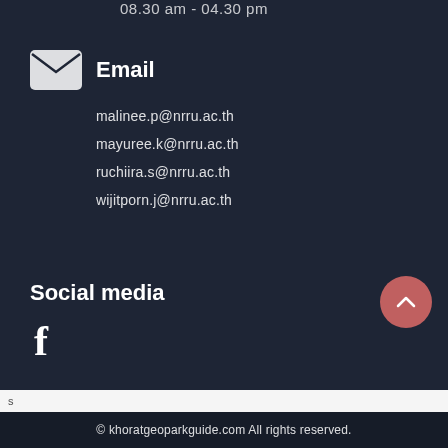08.30 am - 04.30 pm
Email
malinee.p@nrru.ac.th
mayuree.k@nrru.ac.th
ruchiira.s@nrru.ac.th
wijitporn.j@nrru.ac.th
Social media
[Figure (logo): Facebook logo 'f' icon in white]
s
© khoratgeoparkguide.com All rights reserved.